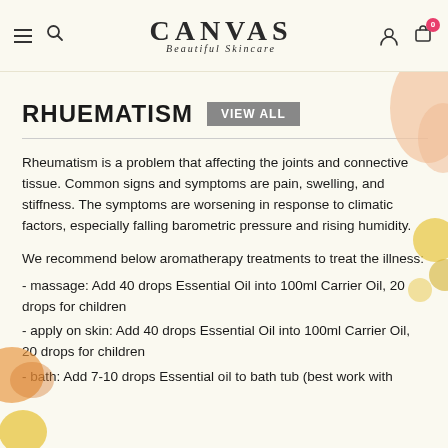CANVAS Beautiful Skincare
RHUEMATISM  VIEW ALL
Rheumatism is a problem that affecting the joints and connective tissue. Common signs and symptoms are pain, swelling, and stiffness. The symptoms are worsening in response to climatic factors, especially falling barometric pressure and rising humidity.
We recommend below aromatherapy treatments to treat the illness:
- massage: Add 40 drops Essential Oil into 100ml Carrier Oil, 20 drops for children
- apply on skin: Add 40 drops Essential Oil into 100ml Carrier Oil, 20 drops for children
- bath: Add 7-10 drops Essential oil to bath tub (best work with